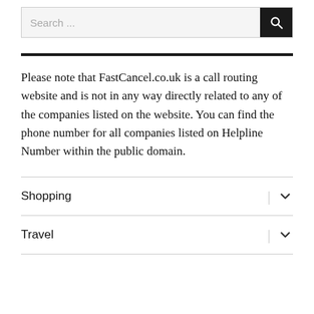[Figure (screenshot): Search bar with text 'Search ...' and a black search button with magnifying glass icon]
Please note that FastCancel.co.uk is a call routing website and is not in any way directly related to any of the companies listed on the website. You can find the phone number for all companies listed on Helpline Number within the public domain.
Shopping
Travel